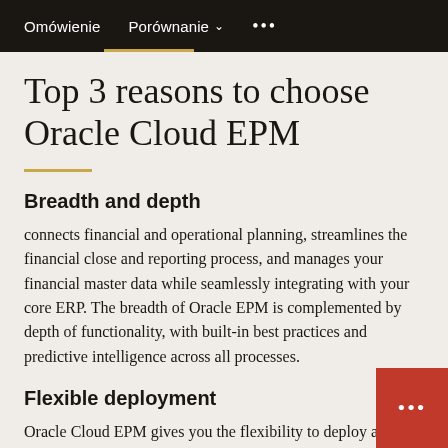Omówienie   Porównanie ▾   •••
Top 3 reasons to choose Oracle Cloud EPM
Breadth and depth
connects financial and operational planning, streamlines the financial close and reporting process, and manages your financial master data while seamlessly integrating with your core ERP. The breadth of Oracle EPM is complemented by depth of functionality, with built-in best practices and predictive intelligence across all processes.
Flexible deployment
Oracle Cloud EPM gives you the flexibility to deploy and configure each EPM process independently, rather than forcing a big bang approach with implementing everything the same way at the same time. It is mo...